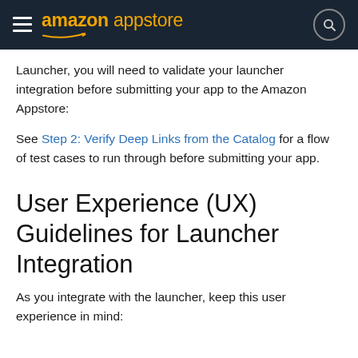amazon appstore
Launcher, you will need to validate your launcher integration before submitting your app to the Amazon Appstore:
See Step 2: Verify Deep Links from the Catalog for a flow of test cases to run through before submitting your app.
User Experience (UX) Guidelines for Launcher Integration
As you integrate with the launcher, keep this user experience in mind: